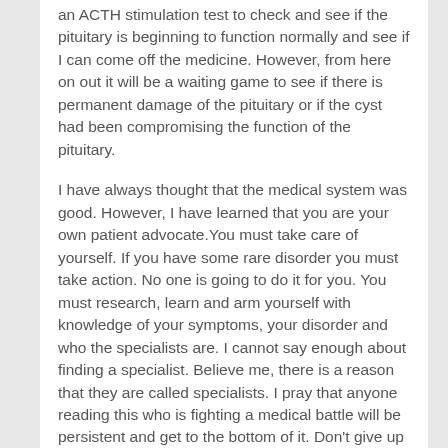an ACTH stimulation test to check and see if the pituitary is beginning to function normally and see if I can come off the medicine. However, from here on out it will be a waiting game to see if there is permanent damage of the pituitary or if the cyst had been compromising the function of the pituitary.
I have always thought that the medical system was good. However, I have learned that you are your own patient advocate.You must take care of yourself. If you have some rare disorder you must take action. No one is going to do it for you. You must research, learn and arm yourself with knowledge of your symptoms, your disorder and who the specialists are. I cannot say enough about finding a specialist. Believe me, there is a reason that they are called specialists. I pray that anyone reading this who is fighting a medical battle will be persistent and get to the bottom of it. Don't give up hope, and most of all, keep the faith.
I also just want to let you know I haven't worked for about the last six months. I did not have the energy or the drive. This experience was draining. I thank the Father above that my family has survived without my paycheck. I plan on returning to work back in the medical field real soon and let me tell you, I